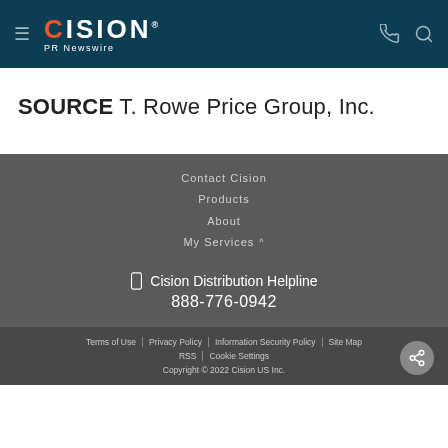CISION PR Newswire
SOURCE T. Rowe Price Group, Inc.
Contact Cision
Products
About
My Services
Cision Distribution Helpline
888-776-0942
Terms of Use | Privacy Policy | Information Security Policy | Site Map | RSS | Cookie Settings
Copyright © 2022 Cision US Inc.